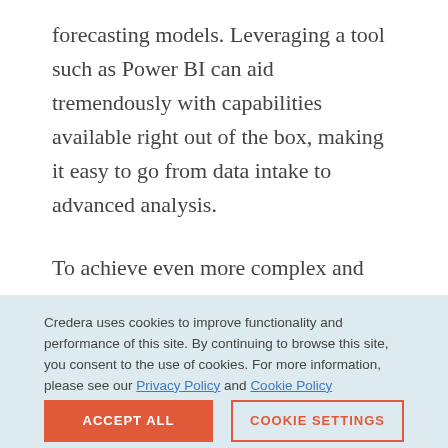forecasting models. Leveraging a tool such as Power BI can aid tremendously with capabilities available right out of the box, making it easy to go from data intake to advanced analysis.
To achieve even more complex and individualized analysis, other tools, such as R, can supplement Power BI. These tools enable users to extract
Credera uses cookies to improve functionality and performance of this site. By continuing to browse this site, you consent to the use of cookies. For more information, please see our Privacy Policy and Cookie Policy